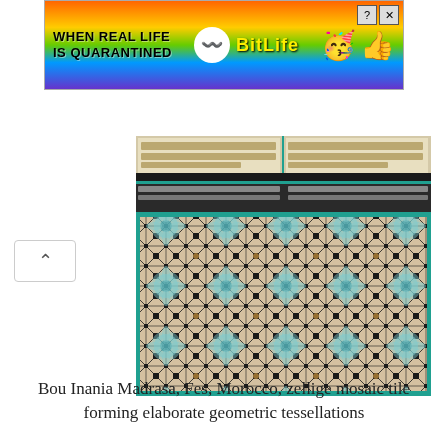[Figure (photo): BitLife advertisement banner with rainbow background, text 'WHEN REAL LIFE IS QUARANTINED', BitLife logo, and emoji graphics]
[Figure (photo): Bou Inania Madrasa in Fes, Morocco showing zellige mosaic tile work with elaborate geometric tessellations and Arabic calligraphy friezes]
Bou Inania Madrasa, Fes, Morocco, zellige mosaic tile forming elaborate geometric tessellations